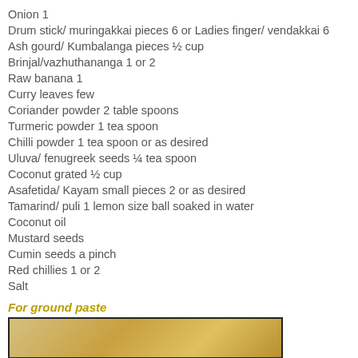Onion 1
Drum stick/ muringakkai pieces 6 or Ladies finger/ vendakkai 6
Ash gourd/ Kumbalanga pieces ½ cup
Brinjal/vazhuthananga 1 or 2
Raw banana 1
Curry leaves few
Coriander powder 2 table spoons
Turmeric powder 1 tea spoon
Chilli powder 1 tea spoon or as desired
Uluva/ fenugreek seeds ¼ tea spoon
Coconut grated ½ cup
Asafetida/ Kayam small pieces 2 or as desired
Tamarind/ puli 1 lemon size ball soaked in water
Coconut oil
Mustard seeds
Cumin seeds a pinch
Red chillies 1 or 2
Salt
For ground paste
[Figure (photo): Photo of ground paste or curry ingredients in a cooking context]